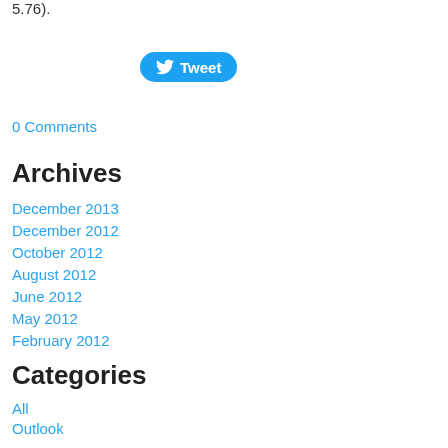5.76).
[Figure (other): Twitter Tweet button]
0 Comments
Archives
December 2013
December 2012
October 2012
August 2012
June 2012
May 2012
February 2012
Categories
All
Outlook
Recap
RSS Feed